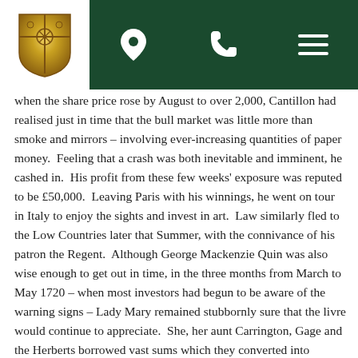[Figure (logo): Gold shield/crest logo on white background on the left; dark green navigation bar with location pin, phone, and hamburger menu icons on the right]
when the share price rose by August to over 2,000, Cantillon had realised just in time that the bull market was little more than smoke and mirrors – involving ever-increasing quantities of paper money.  Feeling that a crash was both inevitable and imminent, he cashed in.  His profit from these few weeks' exposure was reputed to be £50,000.  Leaving Paris with his winnings, he went on tour in Italy to enjoy the sights and invest in art.  Law similarly fled to the Low Countries later that Summer, with the connivance of his patron the Regent.  Although George Mackenzie Quin was also wise enough to get out in time, in the three months from March to May 1720 – when most investors had begun to be aware of the warning signs – Lady Mary remained stubbornly sure that the livre would continue to appreciate.  She, her aunt Carrington, Gage and the Herberts borrowed vast sums which they converted into French banknotes in the forlorn